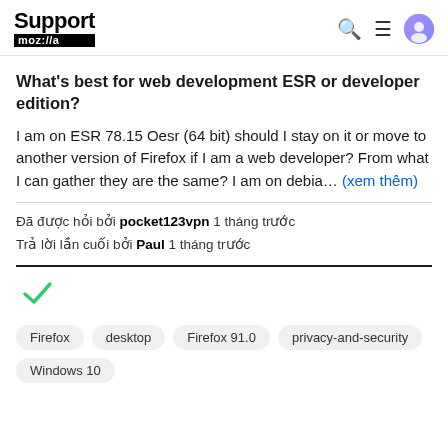Support mozilla
What's best for web development ESR or developer edition?
I am on ESR 78.15 Oesr (64 bit) should I stay on it or move to another version of Firefox if I am a web developer? From what I can gather they are the same? I am on debia… (xem thêm)
Đã được hỏi bởi pocket123vpn 1 tháng trước
Trả lời lần cuối bởi Paul 1 tháng trước
[Figure (other): Green checkmark icon indicating resolved/answered status]
Firefox  desktop  Firefox 91.0  privacy-and-security  Windows 10